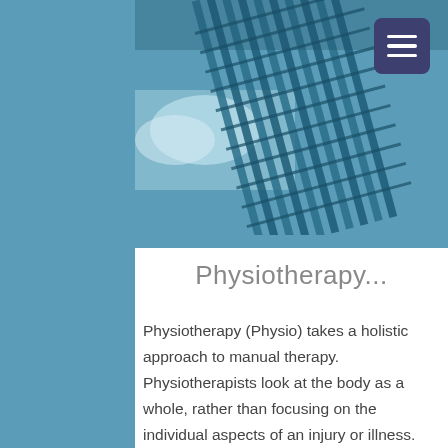[Figure (photo): Aerial/upward view of modern glass skyscraper buildings with blue teal tones, used as a hero banner image behind navigation]
Physiotherapy...
Physiotherapy (Physio) takes a holistic approach to manual therapy. Physiotherapists look at the body as a whole, rather than focusing on the individual aspects of an injury or illness. Useful for when someone has an injury, illness or disability, physiotherapy helps to restore movement and function. It can also